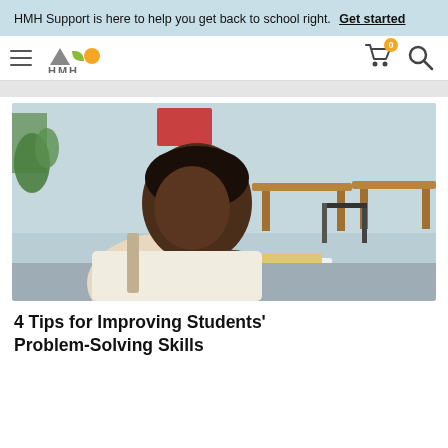HMH Support is here to help you get back to school right. Get started
[Figure (logo): HMH logo with triangle, leaf, and circle shapes above text HMH]
[Figure (photo): A student writing at a desk in a classroom setting]
4 Tips for Improving Students' Problem-Solving Skills